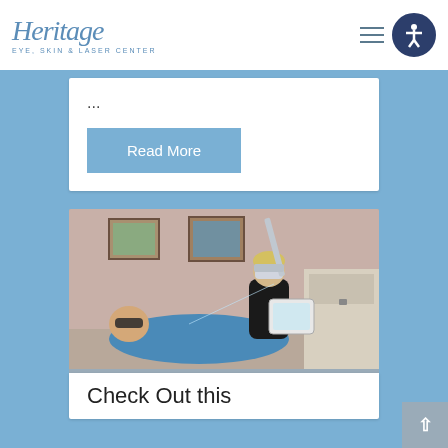[Figure (logo): Heritage Eye, Skin & Laser Center logo with italic script text and accessibility icon in header]
...
Read More
[Figure (photo): Medical professional in black outfit with protective eyewear using a laser device on a patient lying down wearing protective glasses, in a clinical room]
Check Out this